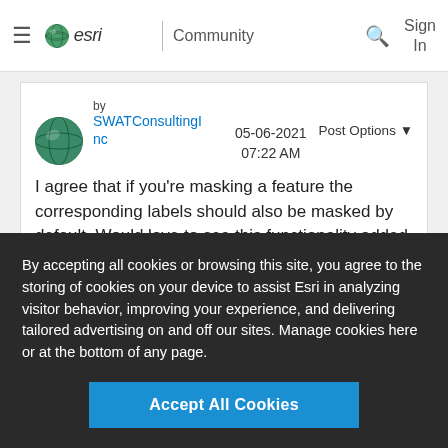esri Community
by SWATConsultingInc  05-06-2021 07:22 AM  Post Options
I agree that if you're masking a feature the corresponding labels should also be masked by default. Would love to see this functionality added in
By accepting all cookies or browsing this site, you agree to the storing of cookies on your device to assist Esri in analyzing visitor behavior, improving your experience, and delivering tailored advertising on and off our sites. Manage cookies here or at the bottom of any page.
Accept All Cookies